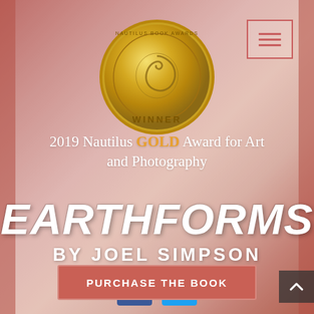[Figure (photo): Background landscape photo of red rock canyon formations with a person visible, overlaid with reddish tinted semi-transparent wash]
[Figure (logo): Nautilus Book Awards gold medal winner badge with nautilus shell design]
2019 Nautilus GOLD Award for Art and Photography
EARTHFORMS BY JOEL SIMPSON
[Figure (infographic): Facebook and Twitter social media icon buttons in blue squares]
PURCHASE THE BOOK